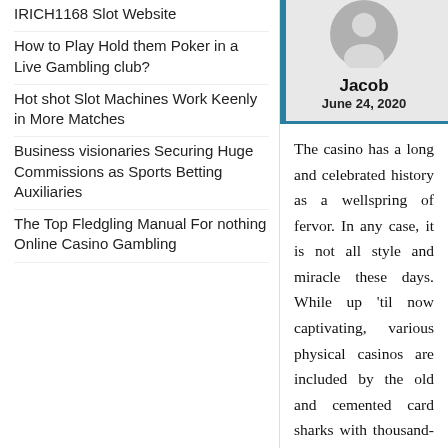IRICH1168 Slot Website
How to Play Hold them Poker in a Live Gambling club?
Hot shot Slot Machines Work Keenly in More Matches
Business visionaries Securing Huge Commissions as Sports Betting Auxiliaries
The Top Fledgling Manual For nothing Online Casino Gambling
[Figure (illustration): Circular avatar icon with a silhouette person graphic on grey background]
Jacob
June 24, 2020
The casino has a long and celebrated history as a wellspring of fervor. In any case, it is not all style and miracle these days. While up 'til now captivating, various physical casinos are included by the old and cemented card sharks with thousand-yard looks. You may go in looking for no specific explanation and leaving feeling disappointed and fairly blue by your related card sharks. With an